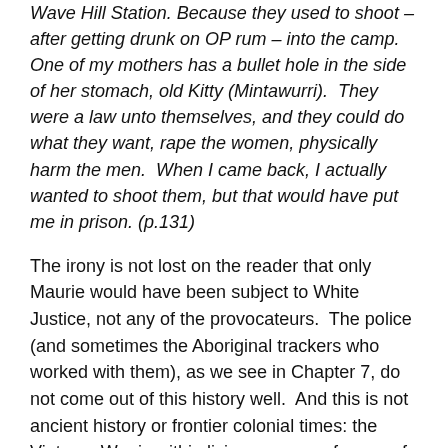Wave Hill Station. Because they used to shoot – after getting drunk on OP rum – into the camp.  One of my mothers has a bullet hole in the side of her stomach, old Kitty (Mintawurri).  They were a law unto themselves, and they could do what they want, rape the women, physically harm the men.  When I came back, I actually wanted to shoot them, but that would have put me in prison. (p.131)
The irony is not lost on the reader that only Maurie would have been subject to White Justice, not any of the provocateurs.  The police (and sometimes the Aboriginal trackers who worked with them), as we see in Chapter 7, do not come out of this history well.  And this is not ancient history or frontier colonial times: the Vietnam War is within living memory of many of us.
But not all of the stories are from Australia's brutal history: the other part of the first module concerns We...